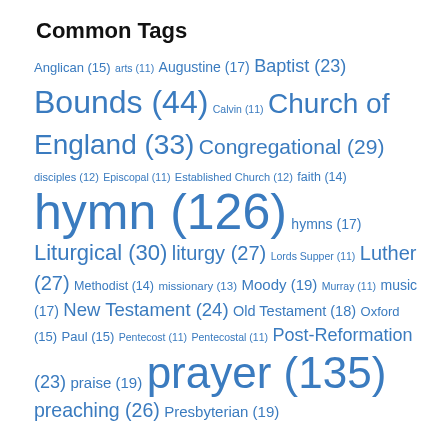Common Tags
[Figure (infographic): Tag cloud showing common tags with sizes proportional to counts: Anglican (15), arts (11), Augustine (17), Baptist (23), Bounds (44), Calvin (11), Church of England (33), Congregational (29), disciples (12), Episcopal (11), Established Church (12), faith (14), hymn (126), hymns (17), Liturgical (30), liturgy (27), Lords Supper (11), Luther (27), Methodist (14), missionary (13), Moody (19), Murray (11), music (17), New Testament (24), Old Testament (18), Oxford (15), Paul (15), Pentecost (11), Pentecostal (11), Post-Reformation (23), praise (19), prayer (135), preaching (26), Presbyterian (19)]